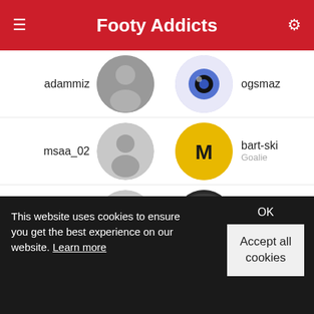Footy Addicts
adammiz | ogsmaz
msaa_02 | bart-ski Goalie
dapo | chefr
anis1010 | barry-healy
This website uses cookies to ensure you get the best experience on our website. Learn more
OK
Accept all cookies